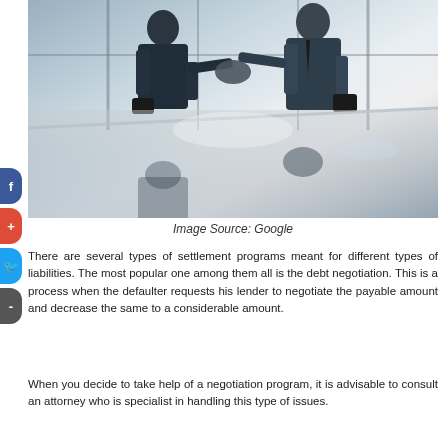[Figure (photo): Two businessmen in suits shaking hands across a glass table in a modern office, with reflections visible on the table surface.]
Image Source: Google
There are several types of settlement programs meant for different types of liabilities. The most popular one among them all is the debt negotiation. This is a process when the defaulter requests his lender to negotiate the payable amount and decrease the same to a considerable amount.
When you decide to take help of a negotiation program, it is advisable to consult an attorney who is specialist in handling this type of issues.